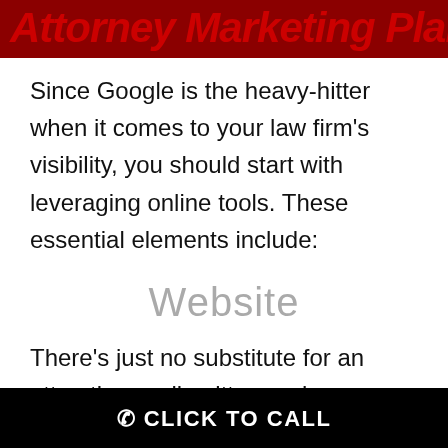Attorney Marketing Plan
Since Google is the heavy-hitter when it comes to your law firm's visibility, you should start with leveraging online tools. These essential elements include:
Website
There's just no substitute for an attractive, well-written and user-friendly website.  It should be professionally optimized with SEO techniques to ensure it ranks well in user queries on Google.  It
📞 CLICK TO CALL